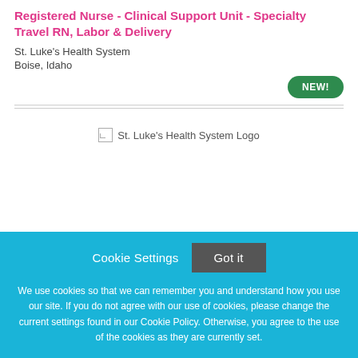Registered Nurse - Clinical Support Unit - Specialty Travel RN, Labor & Delivery
St. Luke's Health System
Boise, Idaho
NEW!
[Figure (logo): St. Luke's Health System Logo (broken image placeholder)]
Cookie Settings  Got it
We use cookies so that we can remember you and understand how you use our site. If you do not agree with our use of cookies, please change the current settings found in our Cookie Policy. Otherwise, you agree to the use of the cookies as they are currently set.